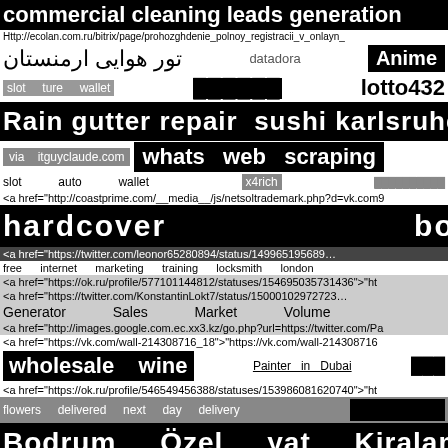commercial cleaning leads generation
Http://ecolan.com.ru/bitrix/page/prohozghdenie_polnoy_registracii_v_onlayn_
تور هوایی ارمنستان  datadora  Anime
slot   ture   wallet  ██████  lotto432
Rain gutter repair  sushi karlsruhe
via  itguyclaude.com  whats web scraping
slot   auto   wallet  x4rich  ██████████
<a href="http://coastprime.com/__media__/js/netsoltrademark.php?d=vk.com9
hardcover                             books
<a href="https://twitter.com/leonor65280894/status/149965195689…
free   internet   marketing   training   locksmith   london
<a href="https://ok.ru/profile/577101144812/statuses/154695035731436">"ht
<a href="https://twitter.com/KonstantinLokt7/status/15000102972723…
Generator          Sales          Market          Volume
<a href="http://images.google.com.ec.xx3.kz/go.php?url=https://twitter.com/Pa
<a href="https://vk.com/wall-214308716_18">"https://vk.com/wall-214308716
wholesale   wine    Painter  in  Dubai  ███
<a href="https://ok.ru/profile/546549456388/statuses/153986081620740">"ht
flowers  delivered  next  day  delivery  ████████
Bodrum   Özel   yat   Kiralama
<a href="https://vk.com/wall-214308716_100">"https://vk.com/wall-2143087l6
طريقة البان كيك  ░ ░ ░ ░ ░ ░